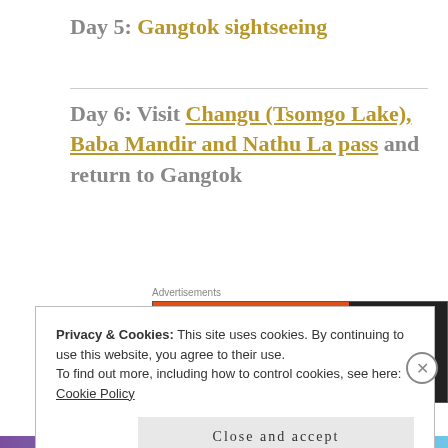Day 5: Gangtok sightseeing
Day 6: Visit Changu (Tsomgo Lake), Baba Mandir and Nathu La pass and return to Gangtok
[Figure (screenshot): DuckDuckGo advertisement banner: orange section with text 'Search, browse, and email with more privacy. All in One Free App' and dark section with DuckDuckGo logo]
Privacy & Cookies: This site uses cookies. By continuing to use this website, you agree to their use.
To find out more, including how to control cookies, see here:
Cookie Policy
Close and accept